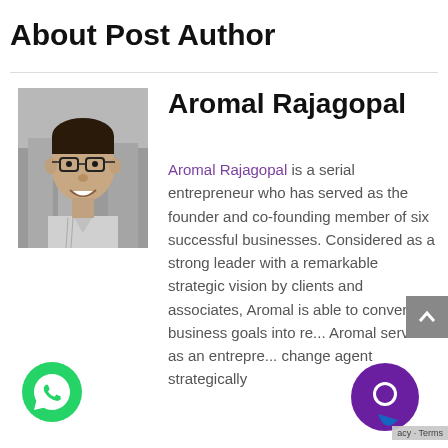About Post Author
[Figure (photo): Black and white headshot photo of Aromal Rajagopal, a young man wearing glasses and a collared shirt, smiling.]
Aromal Rajagopal
Aromal Rajagopal is a serial entrepreneur who has served as the founder and co-founding member of six successful businesses. Considered as a strong leader with a remarkable strategic vision by clients and associates, Aromal is able to convert business goals into re... Aromal serves as an entrepre... change agent strategically